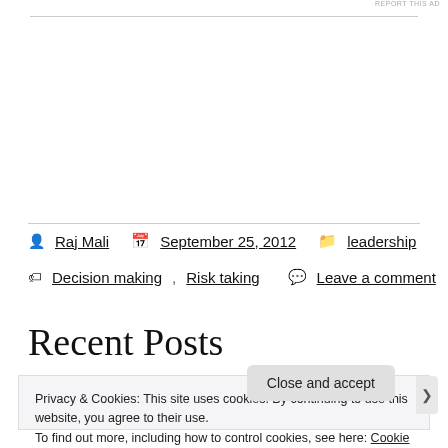REPORT THIS AD
Raj Mali   September 25, 2012   leadership
Decision making, Risk taking   Leave a comment
Recent Posts
Privacy & Cookies: This site uses cookies. By continuing to use this website, you agree to their use.
To find out more, including how to control cookies, see here: Cookie Policy
Close and accept